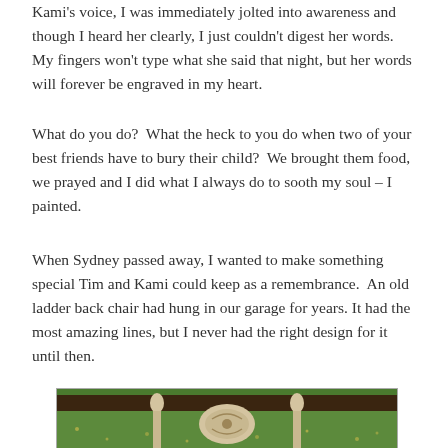Kami's voice, I was immediately jolted into awareness and though I heard her clearly, I just couldn't digest her words.  My fingers won't type what she said that night, but her words will forever be engraved in my heart.
What do you do?  What the heck to you do when two of your best friends have to bury their child?  We brought them food, we prayed and I did what I always do to sooth my soul – I painted.
When Sydney passed away, I wanted to make something special Tim and Kami could keep as a remembrance.  An old ladder back chair had hung in our garage for years. It had the most amazing lines, but I never had the right design for it until then.
[Figure (photo): Photograph of a decorated ladder back chair on grass, with a dark wooden surface visible in the background. The chair appears to be painted with a decorative design.]